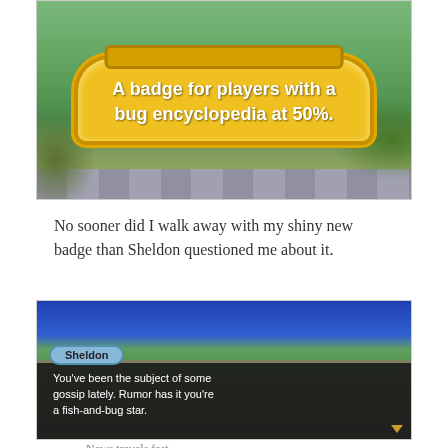[Figure (screenshot): Animal Crossing game screenshot showing a golden badge banner with text: A badge for players with a bug encyclopedia at 50%.]
No sooner did I walk away with my shiny new badge than Sheldon questioned me about it.
[Figure (screenshot): Animal Crossing game screenshot showing two characters outdoors. Sheldon's dialog box reads: You've been the subject of some gossip lately. Rumor has it you're a fish-and-bug star.]
News travels fast